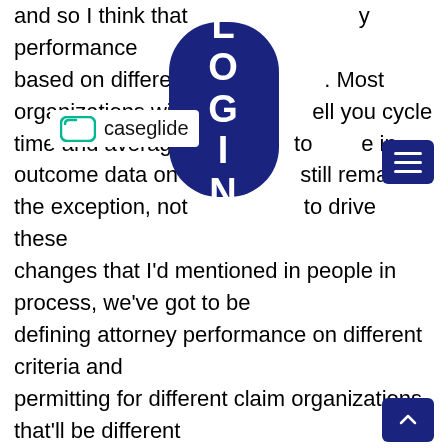and so I think that …y performance based on different … Most organizations with … ell you cycle time and average … to … e in outcome data on … still remains the exception, not … to drive these changes that I'd mentioned in people in process, we've got to be defining attorney performance on different criteria and permitting for different claim organizations, that'll be different things. For some, it's going to be settlement amounts, for some it's going to be settlement amounts versus what the attorney predicted the exposure would be. For others, it'll be something else. For me, maybe because of my process orientation. I want technology to tell me the likelihood of success on all the tools that the claims industry has available to it, when it sits down to resolve a dispute. We are in the business of resolving disputes. That is what the claims organization does. The CLM, Cla… Litigation Management Alliance, led a very successful campaign
[Figure (logo): CaseGlide logo with icon and text label, overlaid on body text]
[Figure (other): Dark blue LOGIN pill-shaped button overlaid on body text]
[Figure (other): Dark blue hamburger menu button (three horizontal lines) in upper right]
[Figure (other): Dark blue scroll-to-top button with upward chevron in lower right]